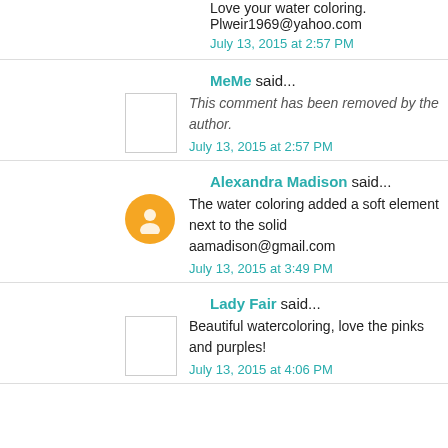Love your water coloring. Plweir1969@yahoo.com
July 13, 2015 at 2:57 PM
MeMe said...
This comment has been removed by the author.
July 13, 2015 at 2:57 PM
Alexandra Madison said...
The water coloring added a soft element next to the solid aamadison@gmail.com
July 13, 2015 at 3:49 PM
Lady Fair said...
Beautiful watercoloring, love the pinks and purples!
July 13, 2015 at 4:06 PM